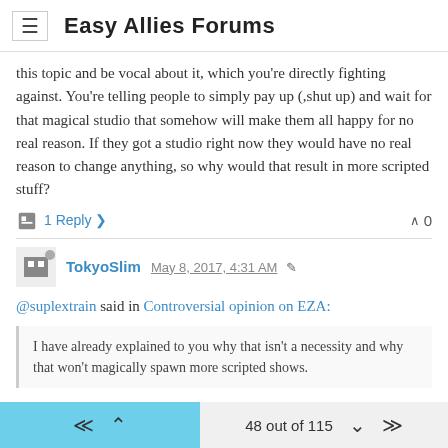Easy Allies Forums
this topic and be vocal about it, which you're directly fighting against. You're telling people to simply pay up (,shut up) and wait for that magical studio that somehow will make them all happy for no real reason. If they got a studio right now they would have no real reason to change anything, so why would that result in more scripted stuff?
1 Reply   0
TokyoSlim May 8, 2017, 4:31 AM
@suplextrain said in Controversial opinion on EZA:
I have already explained to you why that isn't a necessity and why that won't magically spawn more scripted shows.
Explaining things to ME doesn't change Brandon's mind though. I'm not Brandon! You're acting like me stating the situation as-is is somehow not listening to you. I'm listening. I just know what you're proposing
48 out of 115